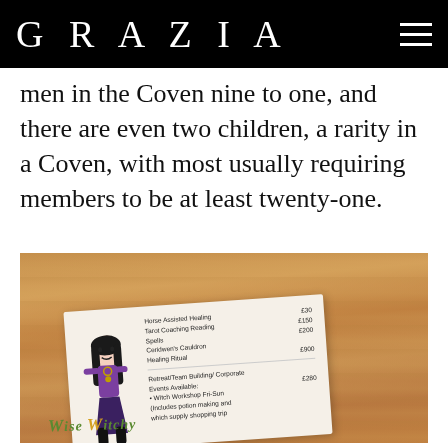GRAZIA
men in the Coven nine to one, and there are even two children, a rarity in a Coven, with most usually requiring members to be at least twenty-one.
[Figure (photo): Photograph of a wooden table with a 'Wise Witch' service card/brochure placed on it. The card lists services including Horse Assisted Healing £30, Tarot Coaching Reading £150, Spells £200, Ceridwen's Cauldron Healing Ritual £900, Retreat/Team Building/Corporate Events Available, Witch Workshop Fri-Sun (Includes potion making and which supply shopping trip) £280.]